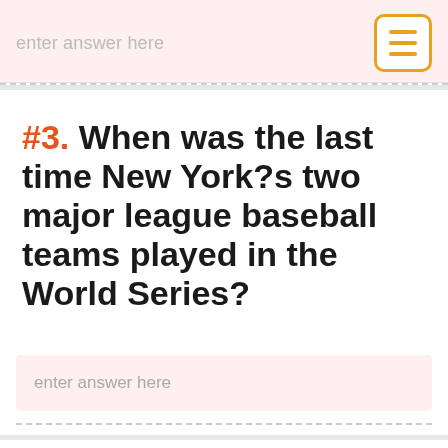enter answer here
#3. When was the last time New York?s two major league baseball teams played in the World Series?
enter answer here
#4. Which New York Mets